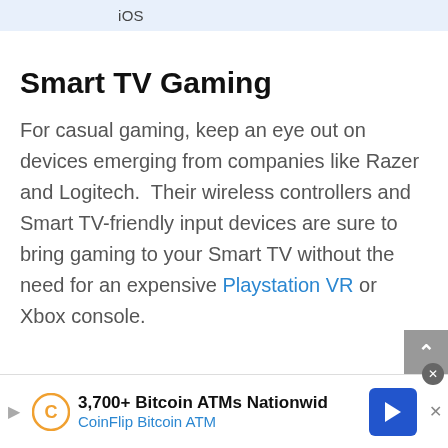iOS
Smart TV Gaming
For casual gaming, keep an eye out on devices emerging from companies like Razer and Logitech.  Their wireless controllers and Smart TV-friendly input devices are sure to bring gaming to your Smart TV without the need for an expensive Playstation VR or Xbox console.
3,700+ Bitcoin ATMs Nationwid CoinFlip Bitcoin ATM